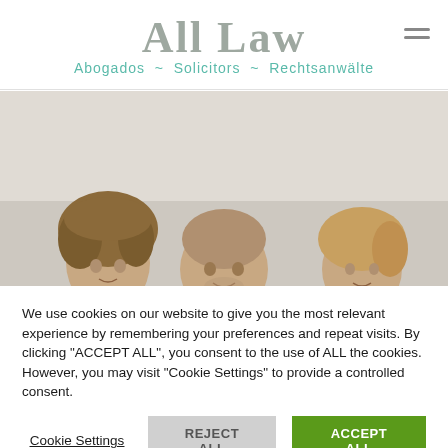ALL LAW — Abogados ~ Solicitors ~ Rechtsanwälte
[Figure (photo): Three people (two women and one man) with their heads visible just above a surface, photographed against a light grey background.]
We use cookies on our website to give you the most relevant experience by remembering your preferences and repeat visits. By clicking "ACCEPT ALL", you consent to the use of ALL the cookies. However, you may visit "Cookie Settings" to provide a controlled consent.
Cookie Settings   REJECT ALL   ACCEPT ALL